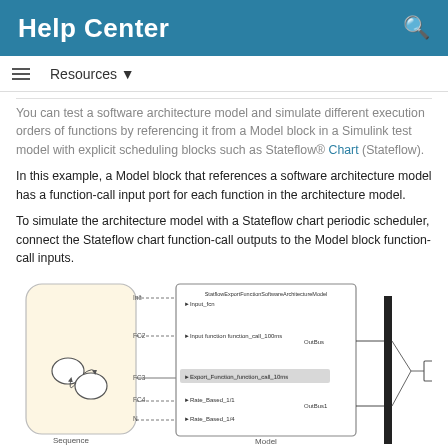Help Center
Resources
You can test a software architecture model and simulate different execution orders of functions by referencing it from a Model block in a Simulink test model with explicit scheduling blocks such as Stateflow® Chart (Stateflow).
In this example, a Model block that references a software architecture model has a function-call input port for each function in the architecture model.
To simulate the architecture model with a Stateflow chart periodic scheduler, connect the Stateflow chart function-call outputs to the Model block function-call inputs.
[Figure (screenshot): Simulink/Stateflow diagram showing a Sequence block connected to a Model block (StatflowExportFunctionSoftwareArchitectureModel) with function-call inputs and outputs, connected to a scope block on the right.]